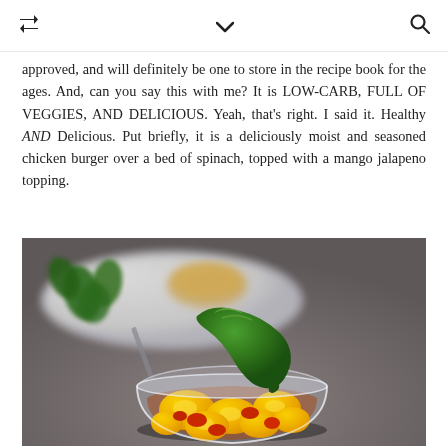[retweet icon] [chevron icon] [search icon]
approved, and will definitely be one to store in the recipe book for the ages. And, can you say this with me? It is LOW-CARB, FULL OF VEGGIES, AND DELICIOUS. Yeah, that's right. I said it. Healthy AND Delicious. Put briefly, it is a deliciously moist and seasoned chicken burger over a bed of spinach, topped with a mango jalapeno topping.
[Figure (photo): A glass bowl filled with mango jalapeno topping — chunks of yellow mango, diced red peppers in a sauce, with a whole green jalapeno pepper resting across the bowl. In the background, a plate with spinach leaves and a chicken burger is visible, blurred.]